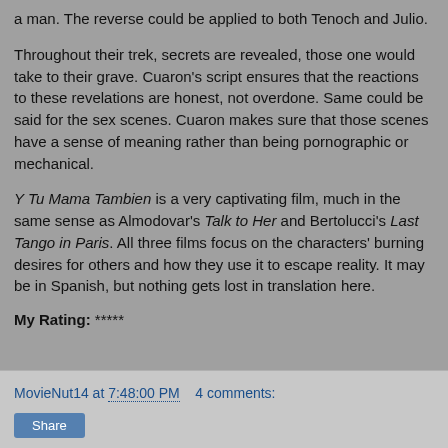a man. The reverse could be applied to both Tenoch and Julio.
Throughout their trek, secrets are revealed, those one would take to their grave. Cuaron's script ensures that the reactions to these revelations are honest, not overdone. Same could be said for the sex scenes. Cuaron makes sure that those scenes have a sense of meaning rather than being pornographic or mechanical.
Y Tu Mama Tambien is a very captivating film, much in the same sense as Almodovar's Talk to Her and Bertolucci's Last Tango in Paris. All three films focus on the characters' burning desires for others and how they use it to escape reality. It may be in Spanish, but nothing gets lost in translation here.
My Rating: *****
MovieNut14 at 7:48:00 PM    4 comments:
Share